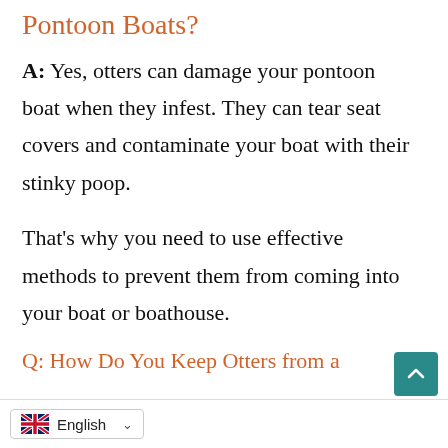Pontoon Boats?
A: Yes, otters can damage your pontoon boat when they infest. They can tear seat covers and contaminate your boat with their stinky poop.
That's why you need to use effective methods to prevent them from coming into your boat or boathouse.
Q: How Do You Keep Otters from a